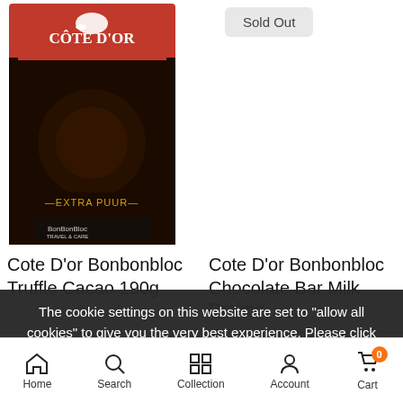[Figure (photo): Cote D'or Bonbonbloc Extra Puur chocolate product package with dark background and elephant logo]
Sold Out
Cote D'or Bonbonbloc Truffle Cacao 190g
Cote D'or Bonbonbloc Chocolate Bar Milk Praline
€2.69
€2.75
The cookie settings on this website are set to "allow all cookies" to give you the very best experience. Please click Accept Cookies to continue to use the site.
Add To Cart
Notify Me
PRIVACY POLICY
ACCEPT ✓
Home  Search  Collection  Account  Cart